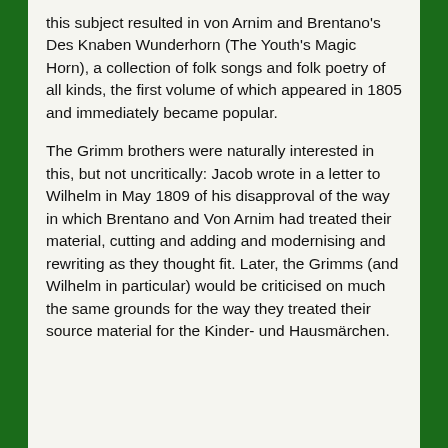this subject resulted in von Arnim and Brentano's Des Knaben Wunderhorn (The Youth's Magic Horn), a collection of folk songs and folk poetry of all kinds, the first volume of which appeared in 1805 and immediately became popular.
The Grimm brothers were naturally interested in this, but not uncritically: Jacob wrote in a letter to Wilhelm in May 1809 of his disapproval of the way in which Brentano and Von Arnim had treated their material, cutting and adding and modernising and rewriting as they thought fit. Later, the Grimms (and Wilhelm in particular) would be criticised on much the same grounds for the way they treated their source material for the Kinder- und Hausmärchen.